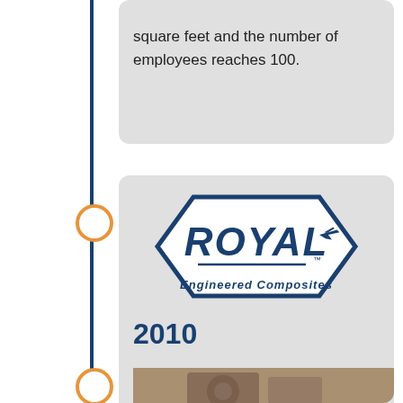The facility is expanded to 32,104 square feet and the number of employees reaches 100.
[Figure (logo): Royal Engineered Composites logo — hexagonal shape with ROYAL text in bold italic, small aircraft silhouette, and 'Engineered Composites' subtitle in blue]
2010
Royal Plastic Manufacturing is renamed Royal Engineered Composites to more accurately reflect Royal's business.
[Figure (photo): Partial photo visible at bottom of page, appears to show industrial equipment]